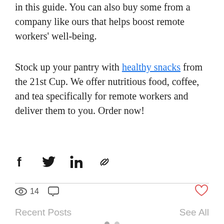in this guide. You can also buy some from a company like ours that helps boost remote workers' well-being.
Stock up your pantry with healthy snacks from the 21st Cup. We offer nutritious food, coffee, and tea specifically for remote workers and deliver them to you. Order now!
[Figure (infographic): Social share icons: Facebook, Twitter, LinkedIn, link/chain icon]
[Figure (infographic): Stats bar: eye icon with count 14, comment bubble icon, heart (like) button on the right]
Recent Posts
See All
[Figure (photo): Thumbnail images of recent blog posts at bottom of page]